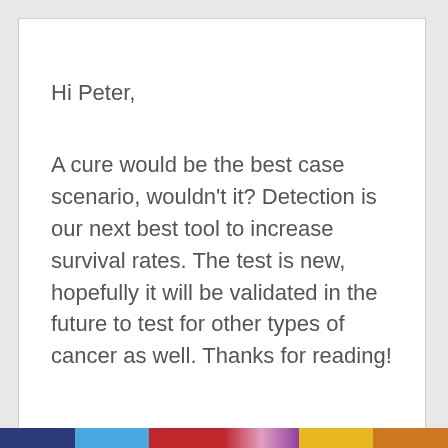Hi Peter,
A cure would be the best case scenario, wouldn't it? Detection is our next best tool to increase survival rates. The test is new, hopefully it will be validated in the future to test for other types of cancer as well. Thanks for reading!
Reply